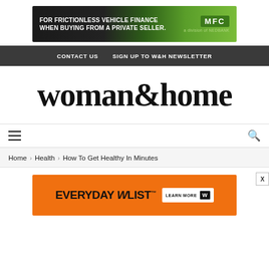[Figure (other): MFC Nedbank vehicle finance advertisement banner: green background with text 'FOR FRICTIONLESS VEHICLE FINANCE WHEN BUYING FROM A PRIVATE SELLER.' and MFC Nedbank logo]
CONTACT US   SIGN UP TO W&H NEWSLETTER
woman&home
[Figure (other): Navigation menu bar with hamburger icon on left and search icon on right]
Home > Health > How To Get Healthy In Minutes
[Figure (other): Everyday WLIST advertisement banner in orange with 'LEARN MORE' button and W logo]